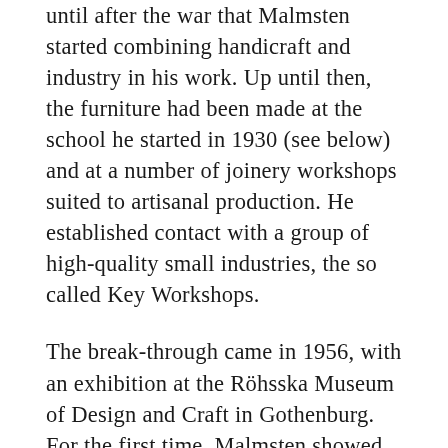until after the war that Malmsten started combining handicraft and industry in his work. Up until then, the furniture had been made at the school he started in 1930 (see below) and at a number of joinery workshops suited to artisanal production. He established contact with a group of high-quality small industries, the so called Key Workshops.
The break-through came in 1956, with an exhibition at the Röhsska Museum of Design and Craft in Gothenburg. For the first time, Malmsten showed furniture designed for serial production, and which soon found their way into the Swedish “People’s Homes”.
Some of the original Key Workshops still make classic Malmsten designs. For example, Stolab in Smålandsstenar, where Lilla Åland and Vardags are made, and O H Sjögren in Tranås, where upholstered armchairs such as Rundrygg, Farmor, Hemmakväll and Samsas are created. Just like Josef Frank and Svenskt Tenn, Carl Malmsten represents a distinct style of